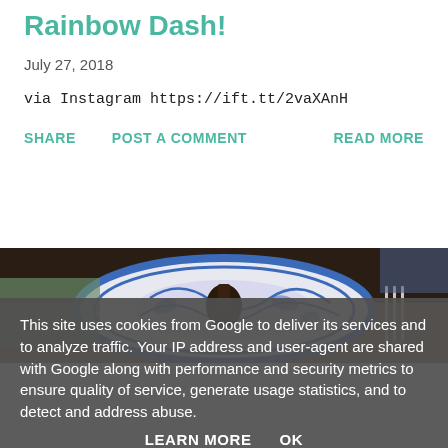Rainbow Dash!
July 27, 2018
via Instagram https://ift.tt/2vaXAnH
SHARE   POST A COMMENT   READ MORE
[Figure (photo): Photo of a blue and white decorative plate with food and silverware on a table]
This site uses cookies from Google to deliver its services and to analyze traffic. Your IP address and user-agent are shared with Google along with performance and security metrics to ensure quality of service, generate usage statistics, and to detect and address abuse.
LEARN MORE   OK